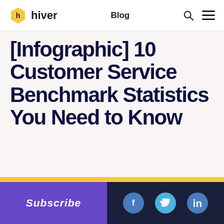hiver | Blog
[Infographic] 10 Customer Service Benchmark Statistics You Need to Know
Dec 28, 2021 | 3 min read | Ganesh Mukundan
Subscribe
Social icons: Facebook, Twitter, LinkedIn